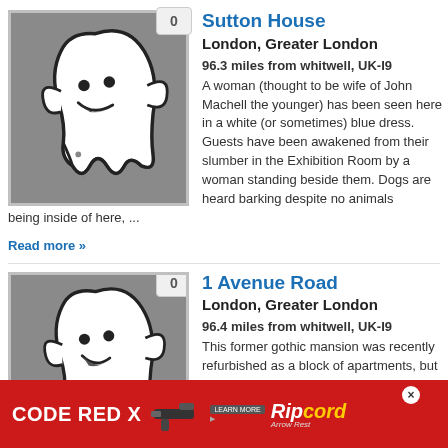[Figure (illustration): Ghost icon on gray background with badge showing 0]
Sutton House
London, Greater London
96.3 miles from whitwell, UK-I9
A woman (thought to be wife of John Machell the younger) has been seen here in a white (or sometimes) blue dress. Guests have been awakened from their slumber in the Exhibition Room by a woman standing beside them. Dogs are heard barking despite no animals being inside of here, ...
Read more »
[Figure (illustration): Ghost icon on gray background with badge showing 0]
1 Avenue Road
London, Greater London
96.4 miles from whitwell, UK-I9
This former gothic mansion was recently refurbished as a block of apartments, but
[Figure (photo): Advertisement banner: CODE RED X with Ripcord logo on red background]